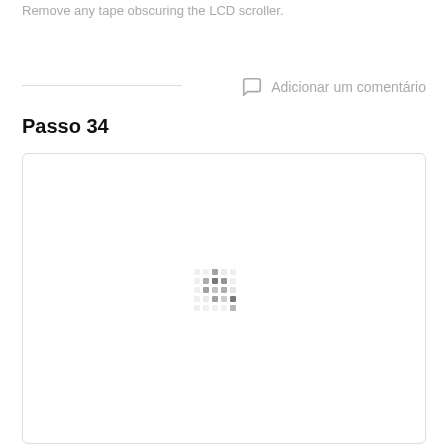Remove any tape obscuring the LCD scroller.
Adicionar um comentário
Passo 34
[Figure (photo): Large image area with a loading spinner/placeholder indicating an image is loading, shown inside a rounded rectangle bordered box.]